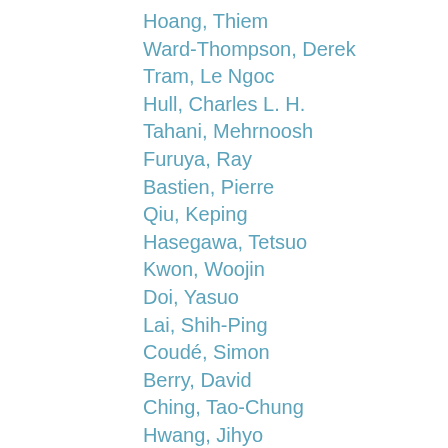Hoang, Thiem
Ward-Thompson, Derek
Tram, Le Ngoc
Hull, Charles L. H.
Tahani, Mehrnoosh
Furuya, Ray
Bastien, Pierre
Qiu, Keping
Hasegawa, Tetsuo
Kwon, Woojin
Doi, Yasuo
Lai, Shih-Ping
Coudé, Simon
Berry, David
Ching, Tao-Chung
Hwang, Jihyo